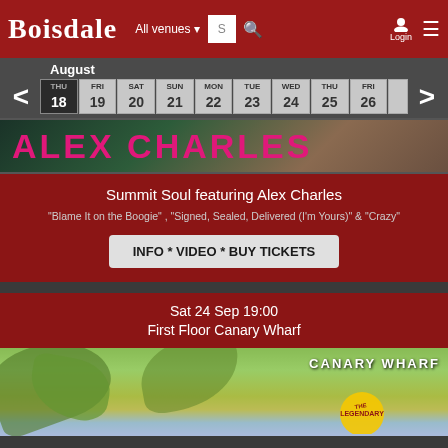BOISDALE — All venues | Login
August
| THU | FRI | SAT | SUN | MON | TUE | WED | THU | FRI |
| --- | --- | --- | --- | --- | --- | --- | --- | --- |
| 18 | 19 | 20 | 21 | 22 | 23 | 24 | 25 | 26 |
[Figure (photo): ALEX CHARLES text banner over dark background]
Summit Soul featuring Alex Charles
"Blame It on the Boogie" , "Signed, Sealed, Delivered (I'm Yours)" & "Crazy"
INFO * VIDEO * BUY TICKETS
Sat 24 Sep 19:00
First Floor Canary Wharf
[Figure (photo): Tropical plant leaves with CANARY WHARF text and The Legendary badge]